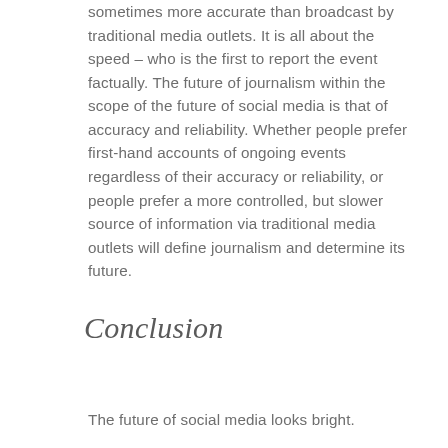sometimes more accurate than broadcast by traditional media outlets. It is all about the speed – who is the first to report the event factually. The future of journalism within the scope of the future of social media is that of accuracy and reliability. Whether people prefer first-hand accounts of ongoing events regardless of their accuracy or reliability, or people prefer a more controlled, but slower source of information via traditional media outlets will define journalism and determine its future.
Conclusion
The future of social media looks bright.